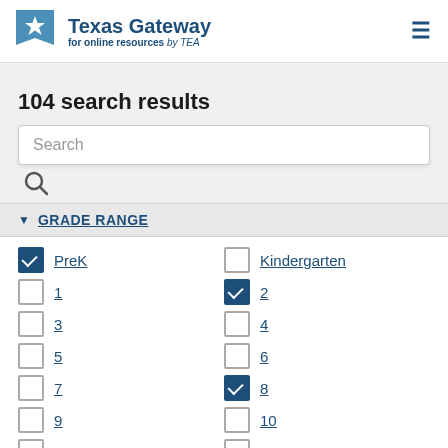Texas Gateway for online resources by TEA
104 search results
Search
GRADE RANGE
PreK (checked), Kindergarten (unchecked)
1 (unchecked), 2 (checked)
3 (unchecked), 4 (unchecked)
5 (unchecked), 6 (unchecked)
7 (unchecked), 8 (checked)
9 (unchecked), 10 (unchecked)
11 (unchecked), 12 (unchecked)
CONTENT TYPE